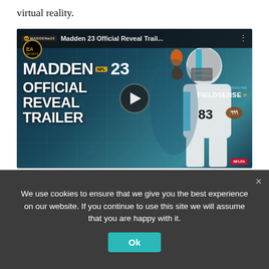virtual reality.
[Figure (screenshot): Embedded YouTube video: Madden 23 Official Reveal Trail... showing the official reveal trailer thumbnail with an NFL player in Miami Dolphins uniform holding football, EA MADDEN NFL 23 OFFICIAL REVEAL TRAILER text, and FIELDSENSE branding. Play button visible in center.]
“For us, we always want to start it grounded in reality, and then start to push the buttons from there,” Murray says. “Otherwise, we would just have 1,000 drones flying all over
We use cookies to ensure that we give you the best experience on our website. If you continue to use this site we will assume that you are happy with it.